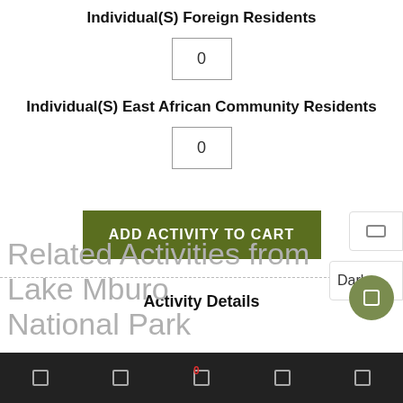Individual(S) Foreign Residents
0
Individual(S) East African Community Residents
0
ADD ACTIVITY TO CART
Activity Details
Related Activities from Lake Mburo National Park
Navigation bar with icons and badge: 0